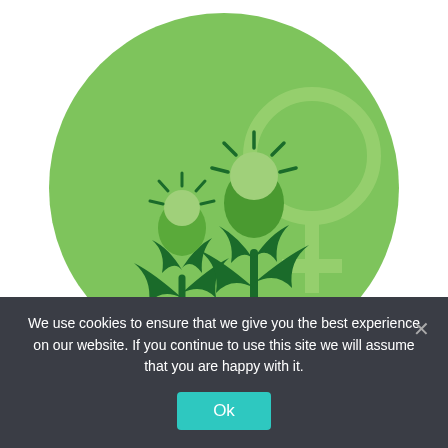[Figure (illustration): A circular green illustration showing two stylized cannabis plants with female flowers (rounded buds with radiating dashes) and cannabis leaf foliage, alongside a large female/Venus symbol (circle with cross below), all on a medium green background circle.]
Worldwide sales of feminized seeds, like Gorgonzola Feminized, have been increasing each year at a
We use cookies to ensure that we give you the best experience on our website. If you continue to use this site we will assume that you are happy with it.